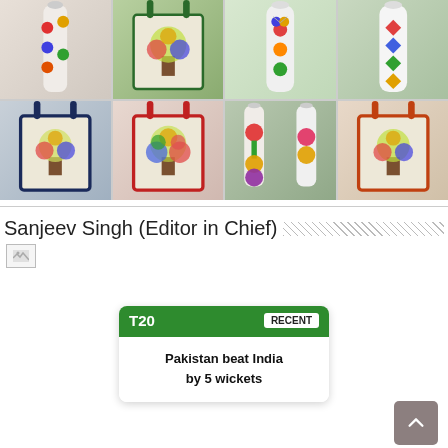[Figure (photo): Grid of product images showing decorated tote bags and water bottles with colorful floral and tree applique designs. Top row: bottle with birds, green tote with tree, bottle with flowers, bottle with geometric pattern. Bottom row: navy tote with tree, red tote with tree, two bottles with flowers, orange-red tote with tree.]
Sanjeev Singh (Editor in Chief)
[Figure (screenshot): Cricket score widget showing T20 match result: 'Pakistan beat India by 5 wickets' with a RECENT badge on green header]
[Figure (other): Scroll-to-top button (gray rounded square with upward chevron arrow)]